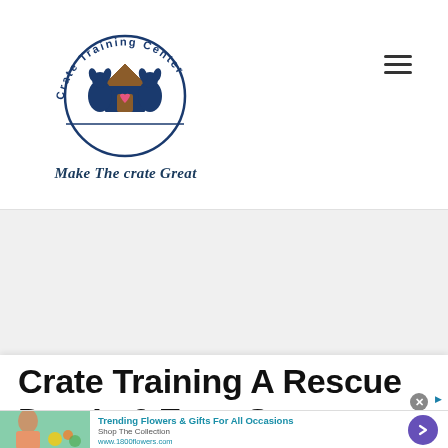[Figure (logo): Crate Training Center logo — circular arc text reading 'Crate Training Center' above a dog house illustration with two dogs and a heart, tagline 'Make The crate Great' below in italic serif]
Crate Training A Rescue Dog In 6 Easy Steps
[Figure (photo): Advertisement banner: woman with flowers photo on left, 'Trending Flowers & Gifts For All Occasions' headline in teal, 'Shop The Collection' and 'www.1800flowers.com' text, purple arrow button on right, close X button and ad indicator]